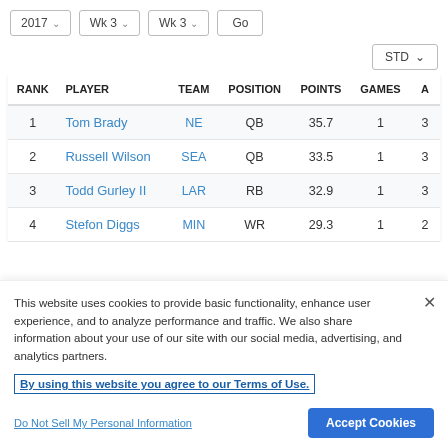[Figure (screenshot): Filter bar with dropdowns: 2017, Wk 3, Wk 3, Go button, and STD dropdown]
| RANK | PLAYER | TEAM | POSITION | POINTS | GAMES | A |
| --- | --- | --- | --- | --- | --- | --- |
| 1 | Tom Brady | NE | QB | 35.7 | 1 | 3 |
| 2 | Russell Wilson | SEA | QB | 33.5 | 1 | 3 |
| 3 | Todd Gurley II | LAR | RB | 32.9 | 1 | 3 |
| 4 | Stefon Diggs | MIN | WR | 29.3 | 1 | 2 |
This website uses cookies to provide basic functionality, enhance user experience, and to analyze performance and traffic. We also share information about your use of our site with our social media, advertising, and analytics partners.
By using this website you agree to our Terms of Use.
Do Not Sell My Personal Information
Accept Cookies